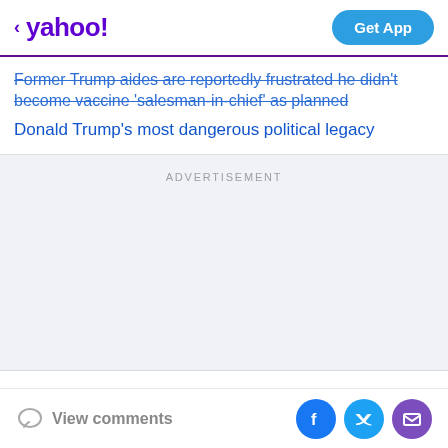yahoo! Get App
Former Trump aides are reportedly frustrated he didn't become vaccine 'salesman-in-chief' as planned
Donald Trump's most dangerous political legacy
ADVERTISEMENT
View comments